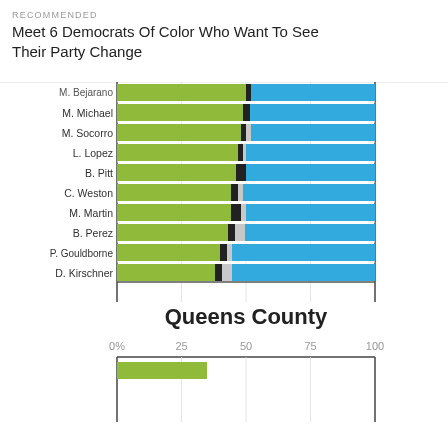RECOMMENDED
Meet 6 Democrats Of Color Who Want To See Their Party Change
[Figure (stacked-bar-chart): Queens County]